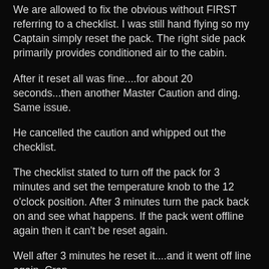We are allowed to fix the obvious without FIRST referring to a checklist. I was still hand flying so my Captain simply reset the pack. The right side pack primarily provides conditioned air to the cabin.
After it reset all was fine....for about 20 seconds...then another Master Caution and ding. Same issue.
He cancelled the caution and whipped out the checklist.
The checklist stated to turn off the pack for 3 minutes and set the temperature knob to the 12 o'clock position. After 3 minutes turn the pack back on and see what happens. If the pack went offline again then it can't be reset again.
Well after 3 minutes he reset it....and it went off line again. Crap.
With only one pack we can't climb to our maximum altitude per the aircraft operating manual. This meant flying at at lower altitude...and thus a higher fuel burn.
In the meantime it is that the direct a briefing of...